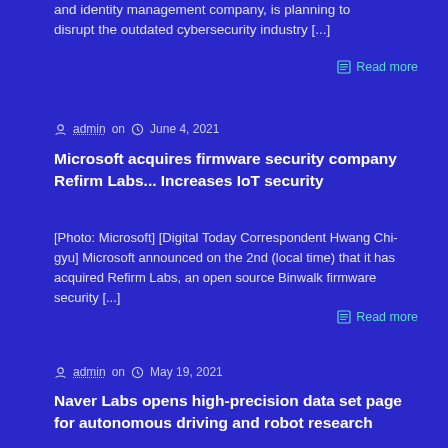and identity management company, is planning to disrupt the outdated cybersecurity industry [...]
Read more
admin on  June 4, 2021
Microsoft acquires firmware security company Refirm Labs... Increases IoT security
[Photo: Microsoft] [Digital Today Correspondent Hwang Chi-gyu] Microsoft announced on the 2nd (local time) that it has acquired Refirm Labs, an open source Binwalk firmware security [...]
Read more
admin on  May 19, 2021
Naver Labs opens high-precision data set page for autonomous driving and robot research